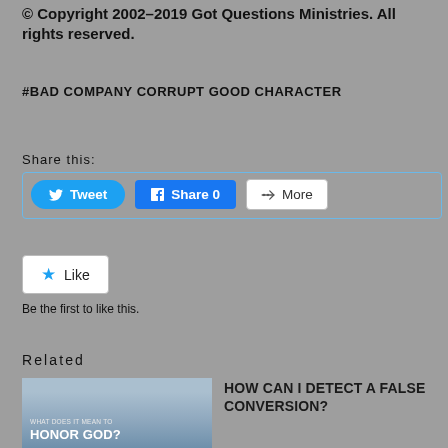© Copyright 2002–2019 Got Questions Ministries. All rights reserved.
#BAD COMPANY CORRUPT GOOD CHARACTER
Share this:
[Figure (screenshot): Social share buttons: Tweet (Twitter, blue rounded), Share 0 (Facebook, blue), More (white with share icon)]
[Figure (screenshot): Like button: white button with blue star icon and Like text]
Be the first to like this.
Related
[Figure (photo): Image with text 'WHAT DOES IT MEAN TO HONOR GOD?' showing a person looking at rocks and sea]
HOW CAN I DETECT A FALSE CONVERSION?